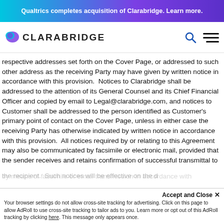Qualtrics completes acquisition of Clarabridge. Learn more.
[Figure (logo): Clarabridge logo with chat bubble icon and navigation icons (search, hamburger menu)]
respective addresses set forth on the Cover Page, or addressed to such other address as the receiving Party may have given by written notice in accordance with this provision.  Notices to Clarabridge shall be addressed to the attention of its General Counsel and its Chief Financial Officer and copied by email to Legal@clarabridge.com, and notices to Customer shall be addressed to the person identified as Customer's primary point of contact on the Cover Page, unless in either case the receiving Party has otherwise indicated by written notice in accordance with this provision.  All notices required by or relating to this Agreement may also be communicated by facsimile or electronic mail, provided that the sender receives and retains confirmation of successful transmittal to the recipient.  Such notices will be effective on the d by means of facsimile or email transmission in accordance with
Accept and Close ×
Your browser settings do not allow cross-site tracking for advertising. Click on this page to allow AdRoll to use cross-site tracking to tailor ads to you. Learn more or opt out of this AdRoll tracking by clicking here. This message only appears once.